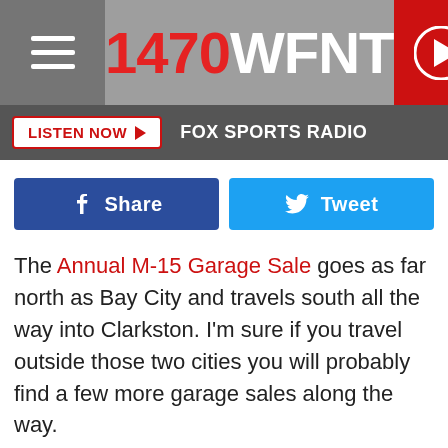1470 WFNT
[Figure (screenshot): Listen Now button with FOX SPORTS RADIO label]
[Figure (screenshot): Facebook Share and Twitter Tweet social sharing buttons]
The Annual M-15 Garage Sale goes as far north as Bay City and travels south all the way into Clarkston. I'm sure if you travel outside those two cities you will probably find a few more garage sales along the way.